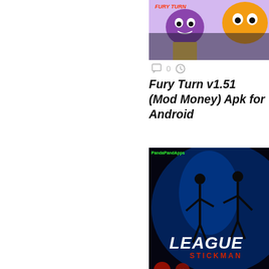[Figure (screenshot): Fury Turn game thumbnail showing cartoon characters in colorful style (partial view at top)]
0
Fury Turn v1.51 (Mod Money) Apk for Android
[Figure (screenshot): League of Stickman game screenshot showing dark action scene with stickman characters and league logo]
0
League of Stickman 2018- Arena PVP (Dreamsky) v5.0.0 [Mod] Apk for Android
[Figure (screenshot): Runtastic fitness app screenshot showing 'Track Your Fitness' with a figure running outdoors and app interface]